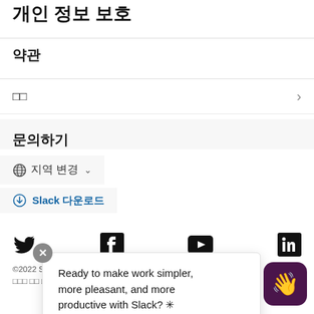개인 정보 보호
약관
□□
문의하기
🌐 지역 변경 ∨
⬇ Slack 다운로드
[Figure (infographic): Social media icons: Twitter, Facebook, YouTube, LinkedIn]
©2022 Slack Techn... 이용 약관 개인정보 처리방침...
Ready to make work simpler, more pleasant, and more productive with Slack? ✳